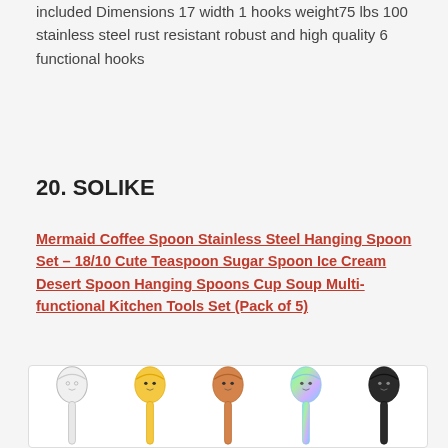included Dimensions 17 width 1 hooks weight75 lbs 100 stainless steel rust resistant robust and high quality 6 functional hooks
20. SOLIKE
Mermaid Coffee Spoon Stainless Steel Hanging Spoon Set – 18/10 Cute Teaspoon Sugar Spoon Ice Cream Desert Spoon Hanging Spoons Cup Soup Multi-functional Kitchen Tools Set (Pack of 5)
[Figure (photo): Five mermaid-shaped spoons in different colors: white/outline, yellow/gold, orange/copper, rainbow/holographic, and black, shown from above against a white background.]